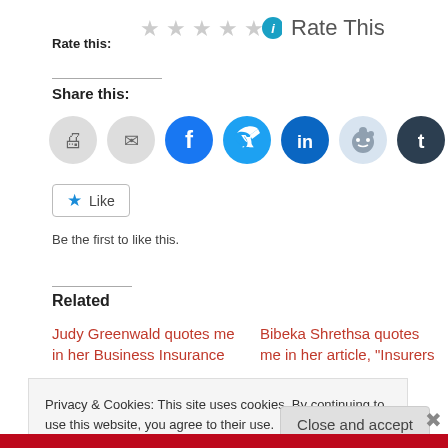Rate this:
[Figure (infographic): Five empty star rating icons followed by an info icon and 'Rate This' text]
Share this:
[Figure (infographic): Row of social sharing icons: print, email, Facebook, Twitter, LinkedIn, Reddit, Tumblr, Pinterest]
[Figure (infographic): Like button with star icon]
Be the first to like this.
Related
Judy Greenwald quotes me in her Business Insurance
Bibeka Shrethsa quotes me in her article, “Insurers
Privacy & Cookies: This site uses cookies. By continuing to use this website, you agree to their use.
To find out more, including how to control cookies, see here: Cookie Policy
Close and accept